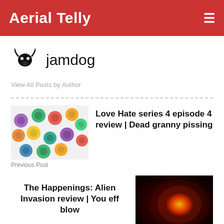Aerial Telly
jamdog
View All Posts by Author
[Figure (illustration): Colorful round toy buttons or candies on a white surface]
Love Hate series 4 episode 4 review | Dead granny pissing
Previous Post
The Happenings: Alien Invasion review | You eff blow
[Figure (photo): Dark background with a glowing orange-red orb, possibly an alien or spacecraft]
Next Post